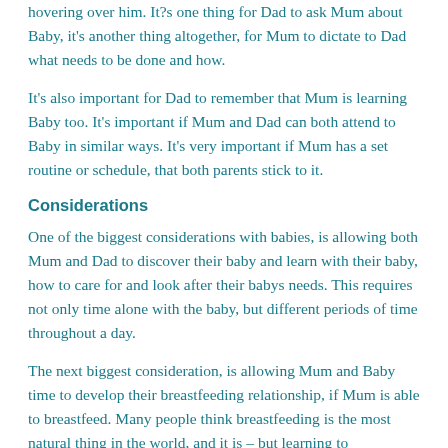hovering over him. It?s one thing for Dad to ask Mum about Baby, it's another thing altogether, for Mum to dictate to Dad what needs to be done and how.
It's also important for Dad to remember that Mum is learning Baby too. It's important if Mum and Dad can both attend to Baby in similar ways. It's very important if Mum has a set routine or schedule, that both parents stick to it.
Considerations
One of the biggest considerations with babies, is allowing both Mum and Dad to discover their baby and learn with their baby, how to care for and look after their babys needs. This requires not only time alone with the baby, but different periods of time throughout a day.
The next biggest consideration, is allowing Mum and Baby time to develop their breastfeeding relationship, if Mum is able to breastfeed. Many people think breastfeeding is the most natural thing in the world, and it is – but learning to